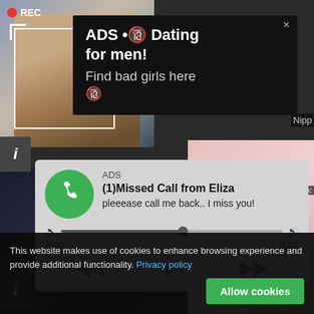[Figure (screenshot): Video recording interface showing a woman taking a selfie with REC indicator and target/focus box overlay]
[Figure (screenshot): Advertisement popup with dark background: 'ADS • 🔞 Dating for men! Find bad girls here 🔞']
[Figure (screenshot): Fake missed call notification popup: ADS label, green phone icon, '(1)Missed Call from Eliza', 'pleeease call me back.. I miss you!', audio progress bar showing 0:00 to 3:23, playback controls]
This website makes use of cookies to enhance browsing experience and provide additional functionality. Privacy policy
Allow cookies